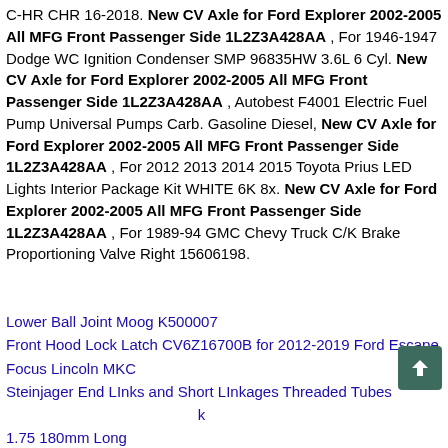C-HR CHR 16-2018. New CV Axle for Ford Explorer 2002-2005 All MFG Front Passenger Side 1L2Z3A428AA , For 1946-1947 Dodge WC Ignition Condenser SMP 96835HW 3.6L 6 Cyl. New CV Axle for Ford Explorer 2002-2005 All MFG Front Passenger Side 1L2Z3A428AA , Autobest F4001 Electric Fuel Pump Universal Pumps Carb. Gasoline Diesel, New CV Axle for Ford Explorer 2002-2005 All MFG Front Passenger Side 1L2Z3A428AA , For 2012 2013 2014 2015 Toyota Prius LED Lights Interior Package Kit WHITE 6K 8x. New CV Axle for Ford Explorer 2002-2005 All MFG Front Passenger Side 1L2Z3A428AA , For 1989-94 GMC Chevy Truck C/K Brake Proportioning Valve Right 15606198.
Lower Ball Joint Moog K500007
Front Hood Lock Latch CV6Z16700B for 2012-2019 Ford Escape Focus Lincoln MKC
Steinjager End LInks and Short LInkages Threaded Tubes k 1.75 180mm Long
1987-1989 Mustang Black Steering Wheel Column Shroud Panel